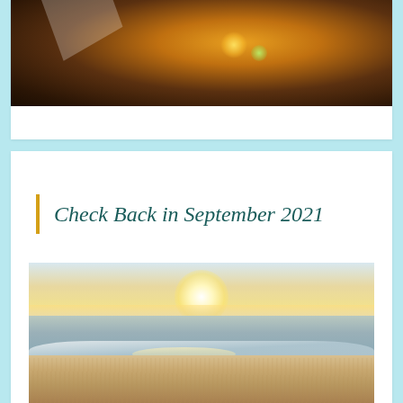[Figure (photo): Dark warm bokeh photo with orange/brown tones and lens flare, partial view cut at top]
Check Back in September 2021
[Figure (photo): Beach sunset photo showing ocean waves washing onto sandy shore with golden sun low on the horizon]